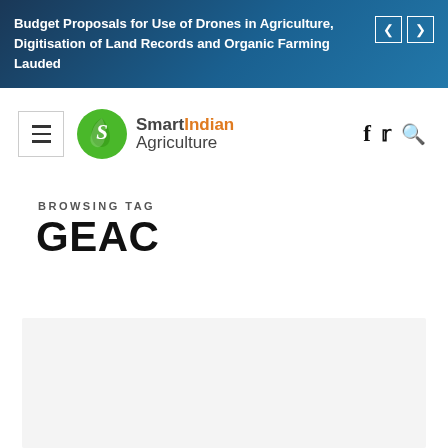Budget Proposals for Use of Drones in Agriculture, Digitisation of Land Records and Organic Farming Lauded
[Figure (logo): Smart Indian Agriculture logo with green circular icon and text]
BROWSING TAG
GEAC